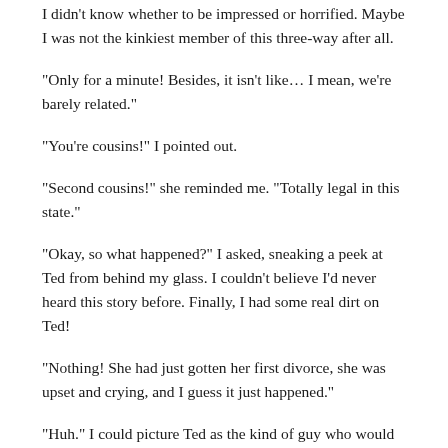I didn't know whether to be impressed or horrified. Maybe I was not the kinkiest member of this three-way after all.
“Only for a minute! Besides, it isn’t like… I mean, we’re barely related.”
“You’re cousins!” I pointed out.
“Second cousins!” she reminded me. “Totally legal in this state.”
“Okay, so what happened?” I asked, sneaking a peek at Ted from behind my glass. I couldn’t believe I’d never heard this story before. Finally, I had some real dirt on Ted!
“Nothing! She had just gotten her first divorce, she was upset and crying, and I guess it just happened.”
“Huh.” I could picture Ted as the kind of guy who would make